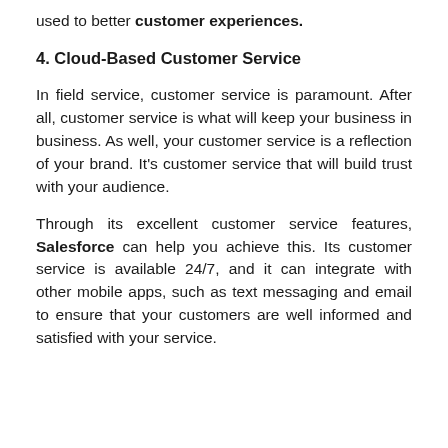used to better customer experiences.
4. Cloud-Based Customer Service
In field service, customer service is paramount. After all, customer service is what will keep your business in business. As well, your customer service is a reflection of your brand. It's customer service that will build trust with your audience.
Through its excellent customer service features, Salesforce can help you achieve this. Its customer service is available 24/7, and it can integrate with other mobile apps, such as text messaging and email to ensure that your customers are well informed and satisfied with your service.